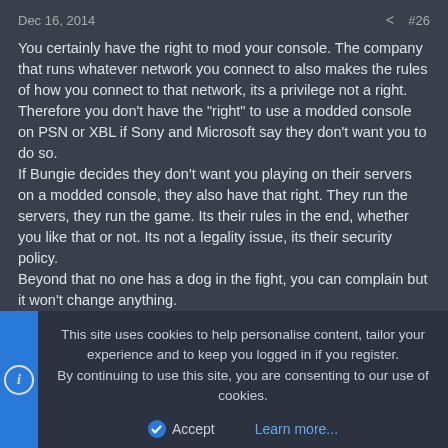Dec 16, 2014   #26
You certainly have the right to mod your console. The company that runs whatever network you connect to also makes the rules of how you connect to that network, its a privilege not a right. Therefore you don't have the "right" to use a modded console on PSN or XBL if Sony and Microsoft say they don't want you to do so.
If Bungie decides they don't want you playing on their servers on a modded console, they also have that right. They run the servers, they run the game. Its their rules in the end, whether you like that or not. Its not a legality issue, its their security policy.
Beyond that no one has a dog in the fight, you can complain but it won't change anything.
And regarding the whole "but people use different O/S on their console" argument isn't valid. Also I'd hazard a guess more people mod their consoles to play burned ISOs than people who use different O/S's so... well sorry thats that.
This site uses cookies to help personalise content, tailor your experience and to keep you logged in if you register.
By continuing to use this site, you are consenting to our use of cookies.
Accept   Learn more...